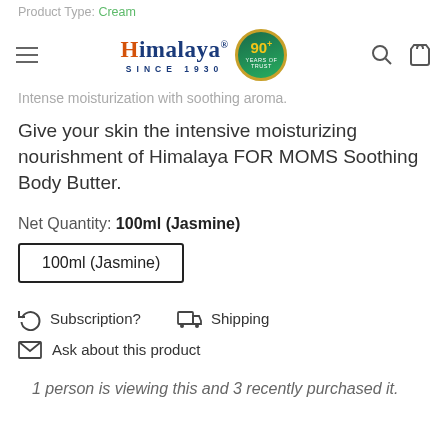Product Type: Cream | Himalaya SINCE 1930 | Intense moisturization with soothing aroma.
Give your skin the intensive moisturizing nourishment of Himalaya FOR MOMS Soothing Body Butter.
Net Quantity: 100ml (Jasmine)
100ml (Jasmine)
Subscription?   Shipping
Ask about this product
1 person is viewing this and 3 recently purchased it.